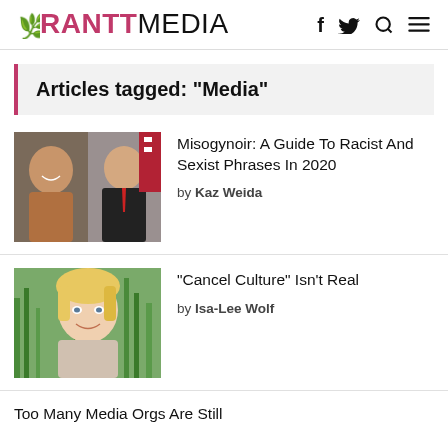RANTTMEDIA
Articles tagged: "Media"
[Figure (photo): Composite photo of two people, a woman smiling on the left and a man in a suit on the right in front of a flag]
Misogynoir: A Guide To Racist And Sexist Phrases In 2020
by Kaz Weida
[Figure (photo): Photo of a blonde woman smiling outdoors against a green background]
"Cancel Culture" Isn't Real
by Isa-Lee Wolf
Too Many Media Orgs Are Still